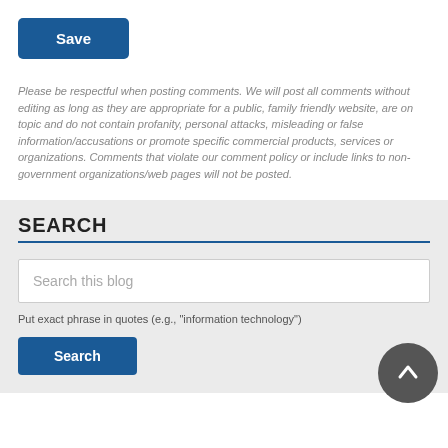Save
Please be respectful when posting comments. We will post all comments without editing as long as they are appropriate for a public, family friendly website, are on topic and do not contain profanity, personal attacks, misleading or false information/accusations or promote specific commercial products, services or organizations. Comments that violate our comment policy or include links to non-government organizations/web pages will not be posted.
SEARCH
Search this blog
Put exact phrase in quotes (e.g., "information technology")
Search